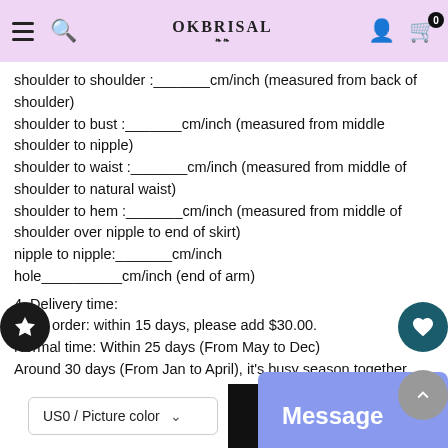OkBrisal
shoulder to shoulder :_______cm/inch (measured from back of shoulder)
shoulder to bust :_______cm/inch (measured from middle shoulder to nipple)
shoulder to waist :_______cm/inch (measured from middle of shoulder to natural waist)
shoulder to hem :_______cm/inch (measured from middle of shoulder over nipple to end of skirt)
nipple to nipple:_______cm/inch
hole__________cm/inch (end of arm)
4, Delivery time:
Rush order: within 15 days, please add $30.00.
Normal time: Within 25 days (From May to Dec)
Around 30 days (From Jan to April), it's busy season together with spring festival holiday, so produce time will be long.